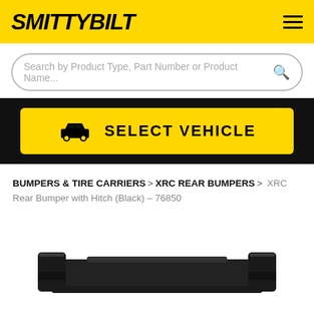SMITTYBILT
Search by Product Type, Part Number or Product Name...
SELECT VEHICLE
BUMPERS & TIRE CARRIERS > XRC REAR BUMPERS > XRC Rear Bumper with Hitch (Black) – 76850
[Figure (photo): Bottom portion of a black Smittybilt XRC Rear Bumper with Hitch (Black) – 76850 product photo]